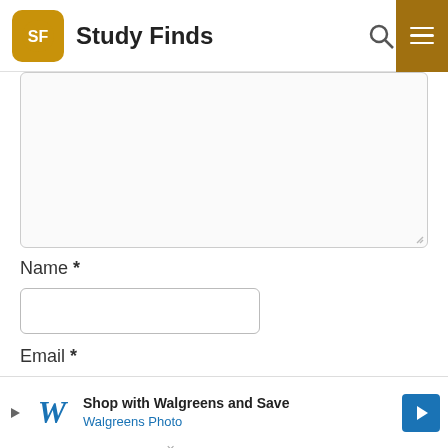Study Finds
[Figure (screenshot): Comment form textarea (empty), partially visible at top]
Name *
[Figure (screenshot): Name input field (empty)]
Email *
[Figure (screenshot): Email input field (empty)]
Website
[Figure (screenshot): Walgreens advertisement banner: Shop with Walgreens and Save — Walgreens Photo]